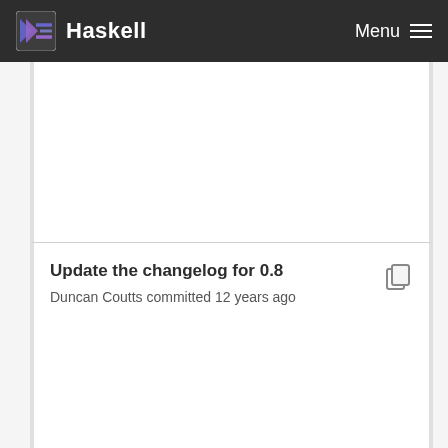Haskell  Menu
Update the changelog for 0.8
Duncan Coutts committed 12 years ago